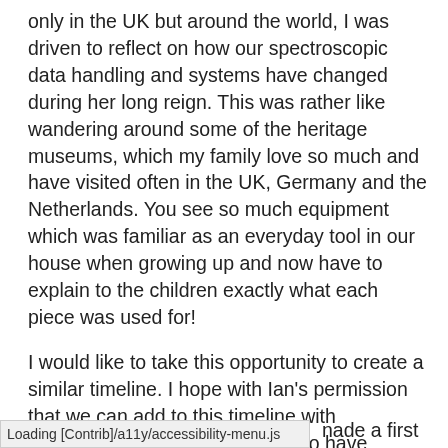only in the UK but around the world, I was driven to reflect on how our spectroscopic data handling and systems have changed during her long reign. This was rather like wandering around some of the heritage museums, which my family love so much and have visited often in the UK, Germany and the Netherlands. You see so much equipment which was familiar as an everyday tool in our house when growing up and now have to explain to the children exactly what each piece was used for!
I would like to take this opportunity to create a similar timeline. I hope with Ian's permission that we can add to this timeline with contributions from any of you who have particular memories of systems that made a step-change in the way you worked with spectroscopic data.
nade a first